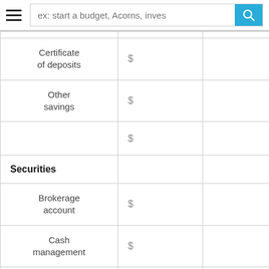[Figure (screenshot): Navigation bar with hamburger menu icon and search bar with placeholder text 'ex: start a budget, Acorns, inves' and a blue search button with magnifying glass icon]
| Certificate of deposits | $ |  |
| Other savings | $ |  |
|  | $ |  |
| Securities |  |  |
| Brokerage account | $ |  |
| Cash management | $ |  |
| Trading app | $ |  |